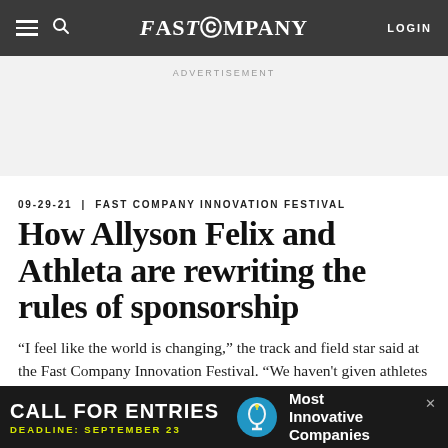FAST COMPANY | LOGIN
ADVERTISEMENT
09-29-21 | FAST COMPANY INNOVATION FESTIVAL
How Allyson Felix and Athleta are rewriting the rules of sponsorship
“I feel like the world is changing,” the track and field star said at the Fast Company Innovation Festival. “We haven’t given athletes much room to be able to seem human.”
[Figure (screenshot): Bottom advertisement banner: CALL FOR ENTRIES / DEADLINE: SEPTEMBER 23 / Most Innovative Companies]